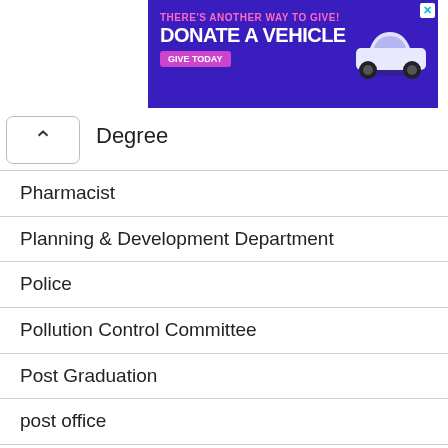[Figure (other): Advertisement banner: THERE'S ANOTHER WAY TO GIVE! DONATE A VEHICLE – GIVE TODAY, with car image, on purple background]
Degree
Pharmacist
Planning & Development Department
Police
Pollution Control Committee
Post Graduation
post office
Postal Circle
Postman
Power Corporation Limited
Prasar Bharati
Probationary Officers
PSS/UPSS